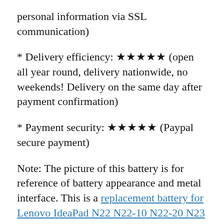personal information via SSL communication)
* Delivery efficiency: ★★★★★ (open all year round, delivery nationwide, no weekends! Delivery on the same day after payment confirmation)
* Payment security: ★★★★★ (Paypal secure payment)
Note: The picture of this battery is for reference of battery appearance and metal interface. This is a replacement battery for Lenovo IdeaPad N22 N22-10 N22-20 N23 N42 N42-20. This Lenovo Battery L15L3PB1 is cheap and high quality!